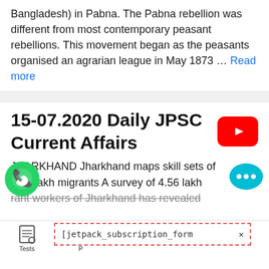Bangladesh) in Pabna. The Pabna rebellion was different from most contemporary peasant rebellions. This movement began as the peasants organised an agrarian league in May 1873 … Read more
15-07.2020 Daily JPSC Current Affairs
[Figure (logo): YouTube play button logo — red rectangle with white triangle]
JHARKHAND Jharkhand maps skill sets of 4.56 lakh migrants A survey of 4.56 lakh migrant workers of Jharkhand has revealed...
[Figure (screenshot): Bottom app toolbar with icons: Tests, and other sections. A jetpack subscription form banner overlaps the toolbar.]